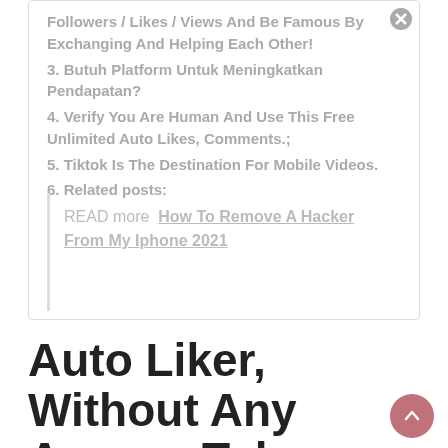Followers / Likes / Views And Be Famous By Exchanging And Helping Each Other!
3. Butuh Platform Untuk Meningkatkan Pendapatan?
4. Verify You Are Human And Use This Free Unlimited Auto Likes, Comments.;
5. Tiktok Is The Destination For Mobile Videos.
6. Related posts:
READ more  How To Remove A Hacker From My Iphone 2021
Auto Liker, Without Any Access Token Or Login.auto Likes, Fun Apps, Tik Tok